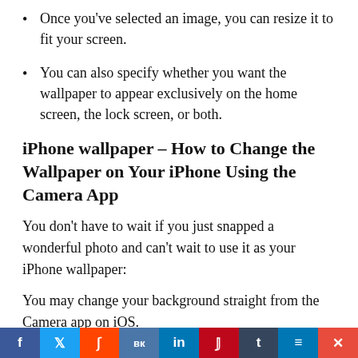Once you've selected an image, you can resize it to fit your screen.
You can also specify whether you want the wallpaper to appear exclusively on the home screen, the lock screen, or both.
iPhone wallpaper – How to Change the Wallpaper on Your iPhone Using the Camera App
You don't have to wait if you just snapped a wonderful photo and can't wait to use it as your iPhone wallpaper:
You may change your background straight from the Camera app on iOS.
Begin by tapping on the thumbnail in the bottom-left corner of your screen.
Tap to make a recent photo your iPhone's wallpaper.
This displays the most recently saved photo on your
f  t  s  VK  in  p  t  ≡ ✕